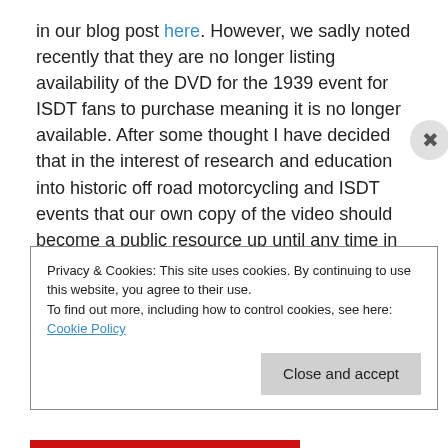in our blog post here. However, we sadly noted recently that they are no longer listing availability of the DVD for the 1939 event for ISDT fans to purchase meaning it is no longer available. After some thought I have decided that in the interest of research and education into historic off road motorcycling and ISDT events that our own copy of the video should become a public resource up until any time in the future Audi.de decide to market this video again.

Therefore STT can announce the availability, for the moment, of this important memory of an ISDT event nearly
Privacy & Cookies: This site uses cookies. By continuing to use this website, you agree to their use.
To find out more, including how to control cookies, see here: Cookie Policy